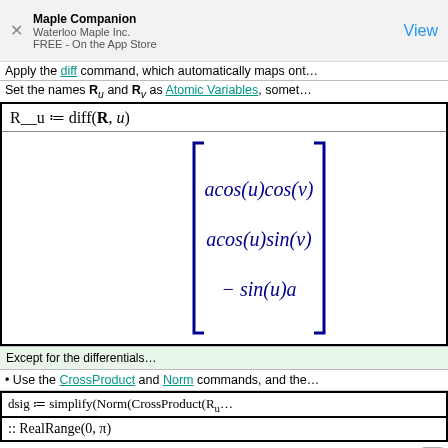Maple Companion
Waterloo Maple Inc.
FREE - On the App Store
View
Apply the diff command, which automatically maps ont…
Set the names R_u and R_v as Atomic Variables, somet…
Except for the differentials…
• Use the CrossProduct and Norm commands, and the…
Form and evaluate the app…
• Use the top-level Int and int commands. To access the…